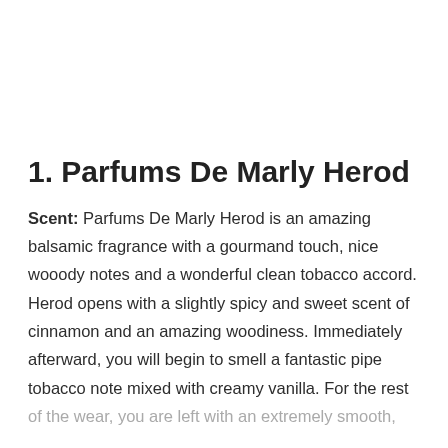1. Parfums De Marly Herod
Scent: Parfums De Marly Herod is an amazing balsamic fragrance with a gourmand touch, nice wooody notes and a wonderful clean tobacco accord. Herod opens with a slightly spicy and sweet scent of cinnamon and an amazing woodiness. Immediately afterward, you will begin to smell a fantastic pipe tobacco note mixed with creamy vanilla. For the rest of the wear, you are left with an extremely smooth,